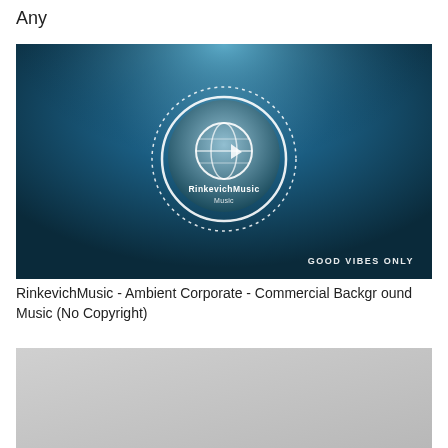Any
[Figure (screenshot): A dark blue gradient background image with a circular logo in the center reading 'RinkevichMusic' with a globe/wave graphic. Text 'GOOD VIBES ONLY' appears in the lower right corner of the image.]
RinkevichMusic - Ambient Corporate - Commercial Background Music (No Copyright)
[Figure (photo): A light grey/silver gradient rectangle, partially visible at the bottom of the page.]